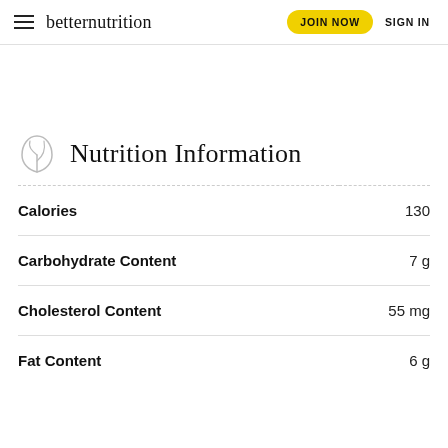betternutrition  JOIN NOW  SIGN IN
Nutrition Information
|  |  |
| --- | --- |
| Calories | 130 |
| Carbohydrate Content | 7 g |
| Cholesterol Content | 55 mg |
| Fat Content | 6 g |